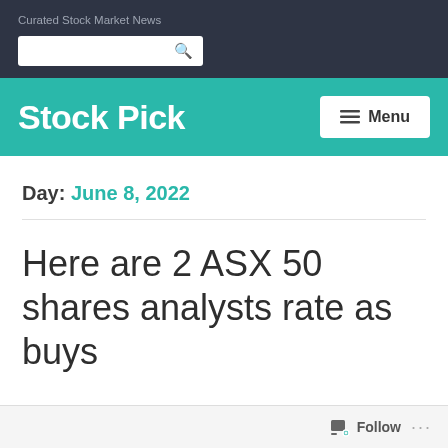Curated Stock Market News
Stock Pick
Day: June 8, 2022
Here are 2 ASX 50 shares analysts rate as buys